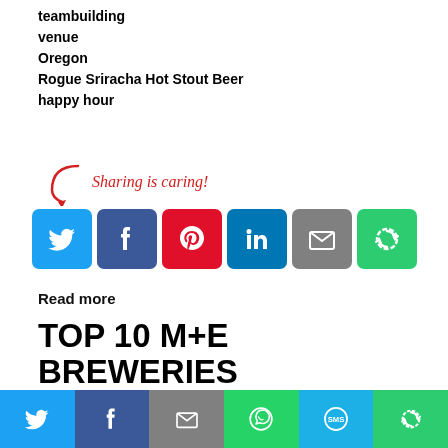teambuilding
venue
Oregon
Rogue Sriracha Hot Stout Beer
happy hour
[Figure (infographic): Sharing is caring social share buttons: Twitter, Facebook, Pinterest, LinkedIn, Email, Share]
Read more
TOP 10 M+E BREWERIES ACROSS THE NATION
We rounded up a list of top breweries with event space from each one of our magazines' 10 regions.
[Figure (infographic): Bottom share bar with Twitter, Facebook, Email, WhatsApp, SMS, Share icons]